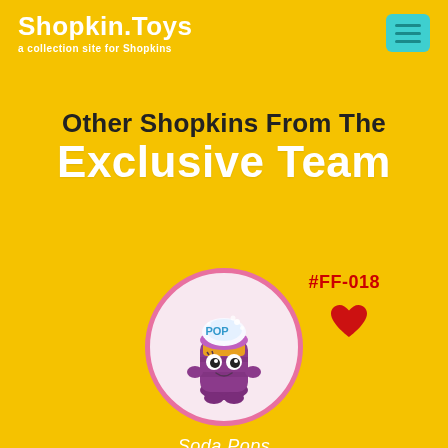Shopkin.Toys — a collection site for Shopkins
Other Shopkins From The Exclusive Team
[Figure (illustration): Circular badge showing a purple Soda Pops Shopkin character with pink border, wearing a yellow cap with bubbles on top]
#FF-018
Soda Pops